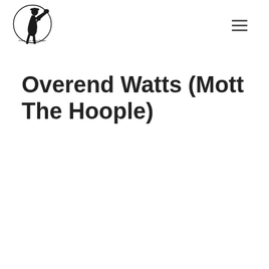Know Your Bass Player
Overend Watts (Mott The Hoople)